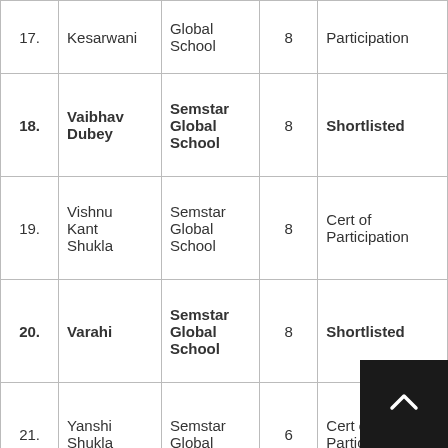| # | Name | School | Grade | Result |
| --- | --- | --- | --- | --- |
| 17. | Kesarwani | Global School | 8 | Participation |
| 18. | Vaibhav Dubey | Semstar Global School | 8 | Shortlisted |
| 19. | Vishnu Kant Shukla | Semstar Global School | 8 | Cert of Participation |
| 20. | Varahi | Semstar Global School | 8 | Shortlisted |
| 21. | Yanshi Shukla | Semstar Global | 6 | Cert of Participation |